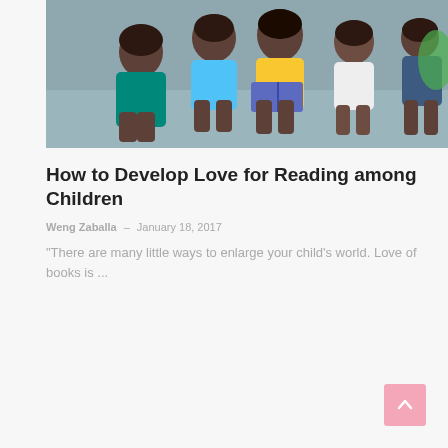[Figure (photo): Several children sitting together in a group, reading a book outdoors near a concrete wall. A girl in the center in a yellow shirt holds a book open while others look on.]
How to Develop Love for Reading among Children
Weng Zaballa – January 18, 2017
"There are many little ways to enlarge your child's world. Love of books is ...